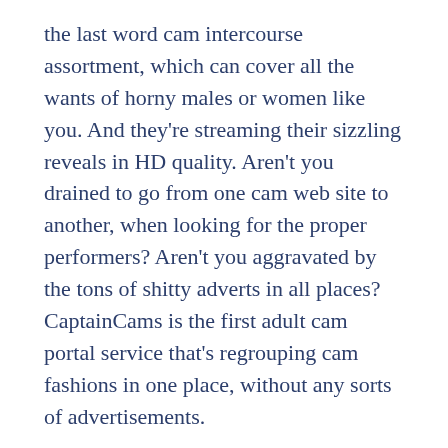the last word cam intercourse assortment, which can cover all the wants of horny males or women like you. And they're streaming their sizzling reveals in HD quality. Aren't you drained to go from one cam web site to another, when looking for the proper performers? Aren't you aggravated by the tons of shitty adverts in all places? CaptainCams is the first adult cam portal service that's regrouping cam fashions in one place, without any sorts of advertisements.
Of course, free intercourse cams are coming even with more advantages that aim to ship you the very best expertise. If you might be ready to sign up and revel in all of them, then see how one can create an account on Camsloveaholics.
The cam to cam function could be very steady and